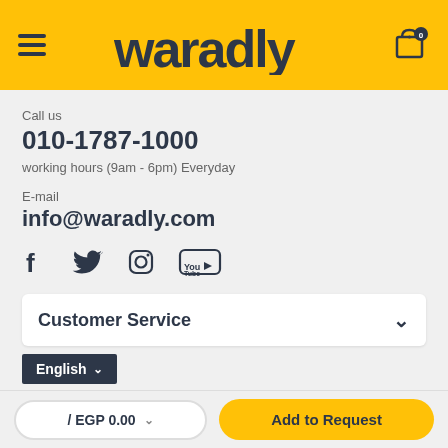[Figure (logo): Waradly website header with yellow background, hamburger menu icon on left, 'waradly' logo in center, shopping cart icon with '0' badge on right]
Call us
010-1787-1000
working hours (9am - 6pm) Everyday
E-mail
info@waradly.com
[Figure (infographic): Social media icons: Facebook, Twitter, Instagram, YouTube]
Customer Service
English
/ EGP 0.00
Add to Request